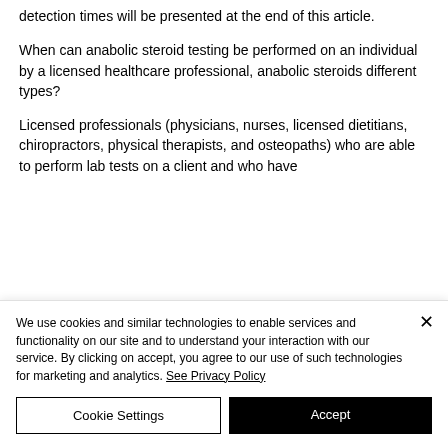detection times will be presented at the end of this article.
When can anabolic steroid testing be performed on an individual by a licensed healthcare professional, anabolic steroids different types?
Licensed professionals (physicians, nurses, licensed dietitians, chiropractors, physical therapists, and osteopaths) who are able to perform lab tests on a client and who have
We use cookies and similar technologies to enable services and functionality on our site and to understand your interaction with our service. By clicking on accept, you agree to our use of such technologies for marketing and analytics. See Privacy Policy